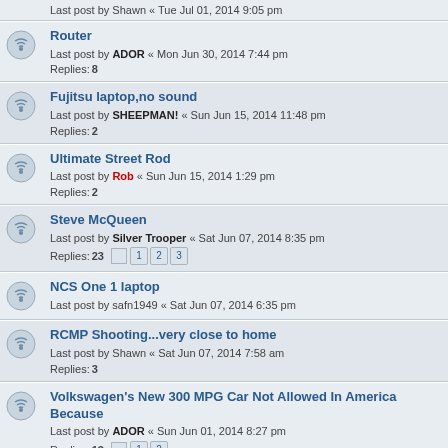Last post by Shawn « Tue Jul 01, 2014 9:05 pm
Router
Last post by ADOR « Mon Jun 30, 2014 7:44 pm
Replies: 8
Fujitsu laptop,no sound
Last post by SHEEPMAN! « Sun Jun 15, 2014 11:48 pm
Replies: 2
Ultimate Street Rod
Last post by Rob « Sun Jun 15, 2014 1:29 pm
Replies: 2
Steve McQueen
Last post by Silver Trooper « Sat Jun 07, 2014 8:35 pm
Replies: 23 [1][2][3]
NCS One 1 laptop
Last post by safn1949 « Sat Jun 07, 2014 6:35 pm
RCMP Shooting...very close to home
Last post by Shawn « Sat Jun 07, 2014 7:58 am
Replies: 3
Volkswagen's New 300 MPG Car Not Allowed In America Because
Last post by ADOR « Sun Jun 01, 2014 8:27 pm
Replies: 13 [1][2]
AMD Socket AM1
Last post by ADOR « Tue May 20, 2014 12:13 pm
Replies: 4
Dell XT boot when lid is closed
Last post by safn1949 « Thu May 15, 2014 8:56 pm
Replies: 6